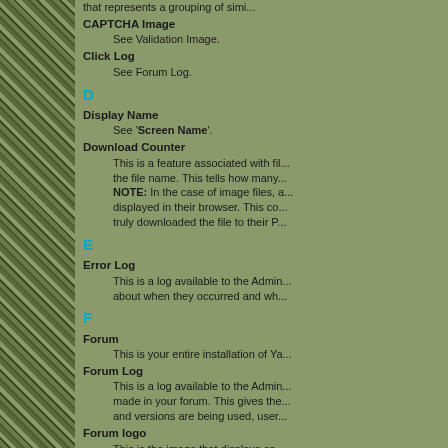that represents a grouping of simi...
CAPTCHA Image
See Validation Image.
Click Log
See Forum Log.
D
Display Name
See 'Screen Name'.
Download Counter
This is a feature associated with fil... the file name. This tells how many... NOTE: In the case of image files, a... displayed in their browser. This co... truly downloaded the file to their P...
E
Error Log
This is a log available to the Admin... about when they occurred and wh...
F
Forum
This is your entire installation of Ya...
Forum Log
This is a log available to the Admin... made in your forum. This gives the... and versions are being used, user...
Forum logo
This is the image that displays on... that comes with the forum softwar...